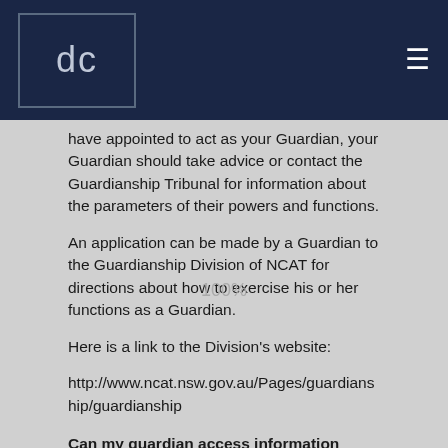dc ≡
have appointed to act as your Guardian, your Guardian should take advice or contact the Guardianship Tribunal for information about the parameters of their powers and functions.
An application can be made by a Guardian to the Guardianship Division of NCAT for directions about how to exercise his or her functions as a Guardian.
Here is a link to the Division's website:
http://www.ncat.nsw.gov.au/Pages/guardianship/guardianship
Can my guardian access information about me?
For the purpose of exercising a function as your guardian, the guardian has the same right of access to personal information as you have.